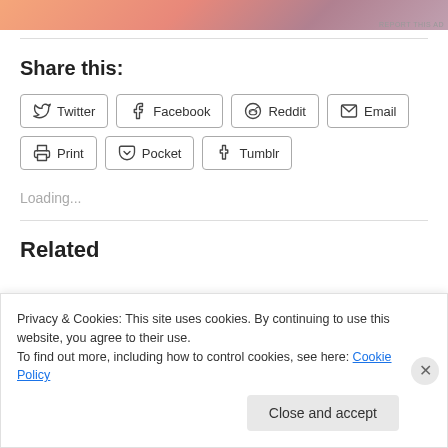[Figure (other): Advertisement banner with gradient orange/pink/purple colors]
Share this:
Twitter
Facebook
Reddit
Email
Print
Pocket
Tumblr
Loading...
Related
Privacy & Cookies: This site uses cookies. By continuing to use this website, you agree to their use. To find out more, including how to control cookies, see here: Cookie Policy